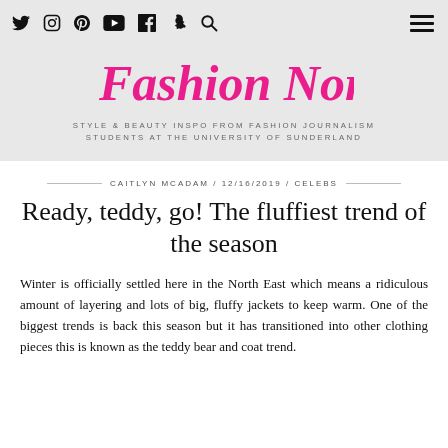Navigation icons: Twitter, Instagram, Pinterest, YouTube, Facebook, Snapchat, Search, Hamburger menu
Fashion North
STYLE & BEAUTY INSPO FROM FASHION JOURNALISM STUDENTS AT THE UNIVERSITY OF SUNDERLAND
CAITLYN MCADAM / 12/16/2019 / CELEBS
Ready, teddy, go! The fluffiest trend of the season
Winter is officially settled here in the North East which means a ridiculous amount of layering and lots of big, fluffy jackets to keep warm. One of the biggest trends is back this season but it has transitioned into other clothing pieces this is known as the teddy bear and coat trend.